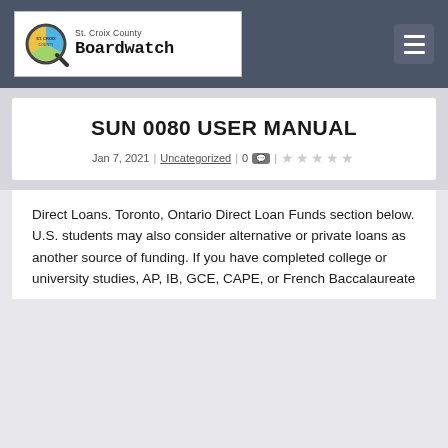[Figure (logo): St. Croix County Boardwatch logo with magnifying glass icon and text]
SUN 0080 USER MANUAL
Jan 7, 2021 | Uncategorized | 0 💬 | ★★★★★
Direct Loans. Toronto, Ontario Direct Loan Funds section below. U.S. students may also consider alternative or private loans as another source of funding. If you have completed college or university studies, AP, IB, GCE, CAPE, or French Baccalaureate